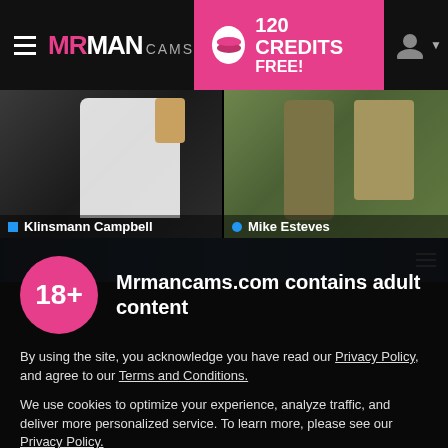[Figure (screenshot): MrMan Cams website header with logo, 120 Credits Free promotion button, and user icon on dark background]
[Figure (photo): Two webcam preview thumbnails: left shows Klinsmann Campbell (person in white shirt), right shows Mike Esteves (torso outdoors)]
[Figure (screenshot): Partially visible website content strip with blue room background and menu icon]
[Figure (screenshot): Adult content age verification overlay with 18+ badge, privacy policy text, cookie notice, and I AGREE button on dark overlay]
Mrmancams.com contains adult content
By using the site, you acknowledge you have read our Privacy Policy, and agree to our Terms and Conditions.
We use cookies to optimize your experience, analyze traffic, and deliver more personalized service. To learn more, please see our Privacy Policy.